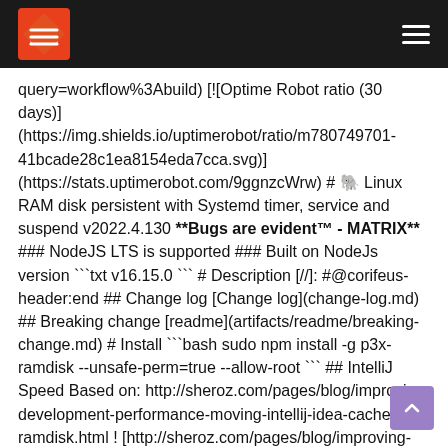Logo and navigation header
query=workflow%3Abuild) [![Optime Robot ratio (30 days)](https://img.shields.io/uptimerobot/ratio/m780749701-41bcade28c1ea8154eda7cca.svg)](https://stats.uptimerobot.com/9ggnzcWrw) # 🐘 Linux RAM disk persistent with Systemd timer, service and suspend v2022.4.130 **Bugs are evident™ - MATRIX** ### NodeJS LTS is supported ### Built on NodeJs version ```txt v16.15.0 ``` # Description [//]: #@corifeus-header:end ## Change log [Change log](change-log.md) ## Breaking change [readme](artifacts/readme/breaking-change.md) # Install ```bash sudo npm install -g p3x-ramdisk --unsafe-perm=true --allow-root ``` ## IntelliJ Speed Based on: http://sheroz.com/pages/blog/improving-development-performance-moving-intellij-idea-cache-ramdisk.html ! [http://sheroz.com/pages/blog/improving-development-performance-moving-intellij-idea-cache-ramdisk.html](http://cdn.corifeus.com/git/ramdisk/artifacts/original-idea.png "After all these tricks I tried to open my current